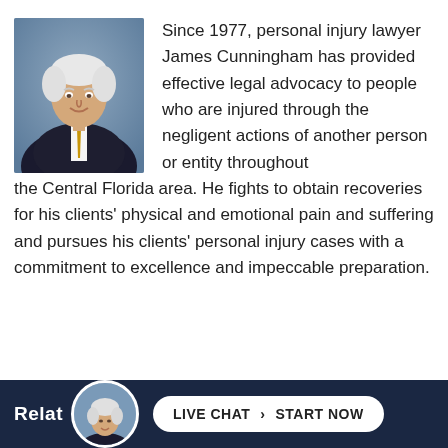[Figure (photo): Professional headshot of personal injury lawyer James Cunningham, an older man with white/silver hair, wearing a dark suit and gold tie, photographed against a blue-grey background.]
Since 1977, personal injury lawyer James Cunningham has provided effective legal advocacy to people who are injured through the negligent actions of another person or entity throughout the Central Florida area. He fights to obtain recoveries for his clients' physical and emotional pain and suffering and pursues his clients' personal injury cases with a commitment to excellence and impeccable preparation.
Related Articles
[Figure (photo): Small circular avatar photo of James Cunningham, same professional headshot, shown in the bottom navigation bar.]